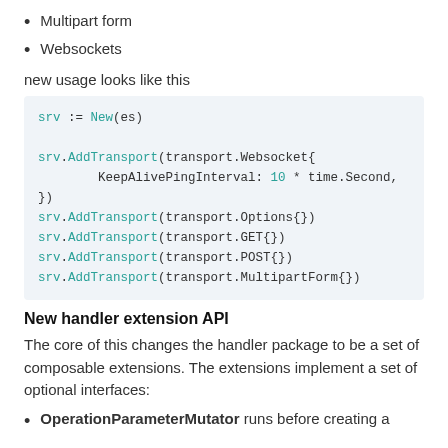Multipart form
Websockets
new usage looks like this
srv := New(es)

srv.AddTransport(transport.Websocket{
        KeepAlivePingInterval: 10 * time.Second,
})
srv.AddTransport(transport.Options{})
srv.AddTransport(transport.GET{})
srv.AddTransport(transport.POST{})
srv.AddTransport(transport.MultipartForm{})
New handler extension API
The core of this changes the handler package to be a set of composable extensions. The extensions implement a set of optional interfaces:
OperationParameterMutator runs before creating a